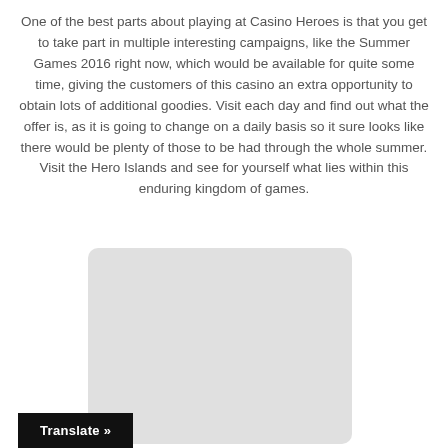One of the best parts about playing at Casino Heroes is that you get to take part in multiple interesting campaigns, like the Summer Games 2016 right now, which would be available for quite some time, giving the customers of this casino an extra opportunity to obtain lots of additional goodies. Visit each day and find out what the offer is, as it is going to change on a daily basis so it sure looks like there would be plenty of those to be had through the whole summer. Visit the Hero Islands and see for yourself what lies within this enduring kingdom of games.
[Figure (other): Gray rounded rectangle placeholder image]
Translate »